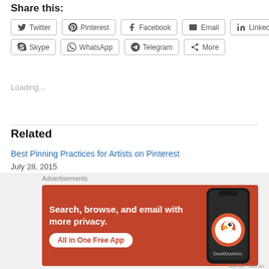Share this:
Twitter | Pinterest | Facebook | Email | LinkedIn | Skype | WhatsApp | Telegram | More
Loading...
Related
Best Pinning Practices for Artists on Pinterest
July 28, 2015
In "Social Networking"
[Figure (screenshot): DuckDuckGo advertisement banner with orange background showing phone and text: Search, browse, and email with more privacy. All in One Free App.]